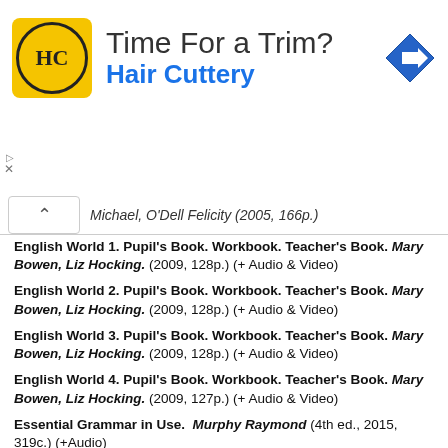[Figure (other): Hair Cuttery advertisement banner with logo, tagline 'Time For a Trim?', and navigation arrow icon]
Michael, O'Dell Felicity (2005, 166p.)
English World 1. Pupil's Book. Workbook. Teacher's Book. Mary Bowen, Liz Hocking. (2009, 128p.) (+ Audio & Video)
English World 2. Pupil's Book. Workbook. Teacher's Book. Mary Bowen, Liz Hocking. (2009, 128p.) (+ Audio & Video)
English World 3. Pupil's Book. Workbook. Teacher's Book. Mary Bowen, Liz Hocking. (2009, 128p.) (+ Audio & Video)
English World 4. Pupil's Book. Workbook. Teacher's Book. Mary Bowen, Liz Hocking. (2009, 127p.) (+ Audio & Video)
Essential Grammar in Use. Murphy Raymond (4th ed., 2015, 319c.) (+Audio)
Essential Grammar in Use. Supplementary Exercises. Naylor Helen, Murphy Raymond. (2-ed; 2007, 128c.)
(cep.Extra) Listening Extra. Miles Craven (+ Audio )
(cep.Extra) Reading Extra. Liz Driscoll
(cep.Extra) Speaking Extra. Mick Gammidge (+ Audio )
(cep.Extra) Writing Extra. Graham Palmer